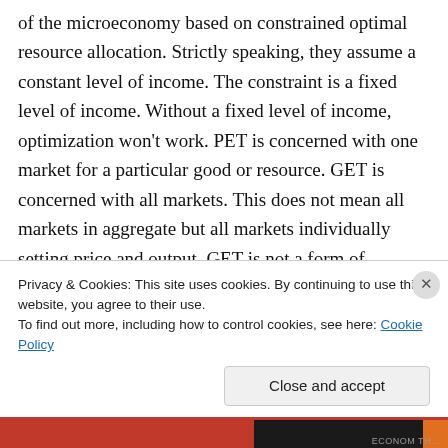of the microeconomy based on constrained optimal resource allocation. Strictly speaking, they assume a constant level of income. The constraint is a fixed level of income. Without a fixed level of income, optimization won't work. PET is concerned with one market for a particular good or resource. GET is concerned with all markets. This does not mean all markets in aggregate but all markets individually setting price and output. GET is not a form of aggregate macroeconomics. It is the economics of multiple
Privacy & Cookies: This site uses cookies. By continuing to use this website, you agree to their use.
To find out more, including how to control cookies, see here: Cookie Policy
Close and accept